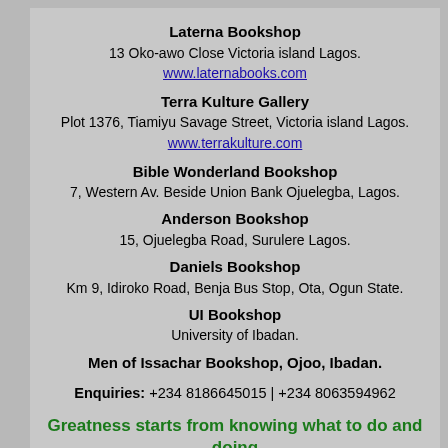Laterna Bookshop
13 Oko-awo Close Victoria island Lagos.
www.laternabooks.com
Terra Kulture Gallery
Plot 1376, Tiamiyu Savage Street, Victoria island Lagos.
www.terrakulture.com
Bible Wonderland Bookshop
7, Western Av. Beside Union Bank Ojuelegba, Lagos.
Anderson Bookshop
15, Ojuelegba Road, Surulere Lagos.
Daniels Bookshop
Km 9, Idiroko Road, Benja Bus Stop, Ota, Ogun State.
UI Bookshop
University of Ibadan.
Men of Issachar Bookshop, Ojoo, Ibadan.
Enquiries: +234 8186645015 | +234 8063594962
Greatness starts from knowing what to do and doing